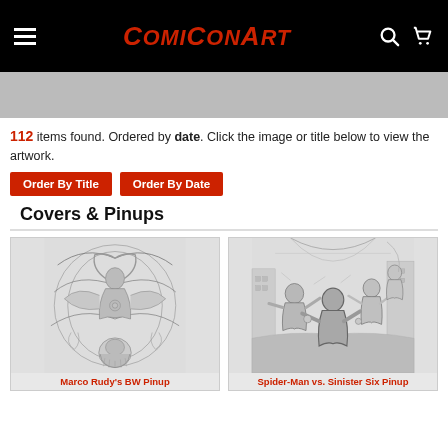ComiConArt
112 items found. Ordered by date. Click the image or title below to view the artwork.
Order By Title
Order By Date
Covers & Pinups
[Figure (illustration): Black and white comic cover artwork featuring a female figure surrounded by ornate swirling designs, with bearded face at bottom]
Marco Rudy's BW Pinup
[Figure (illustration): Black and white comic pinup artwork featuring Spider-Man and Sinister Six characters in an action scene with city background]
Spider-Man vs. Sinister Six Pinup